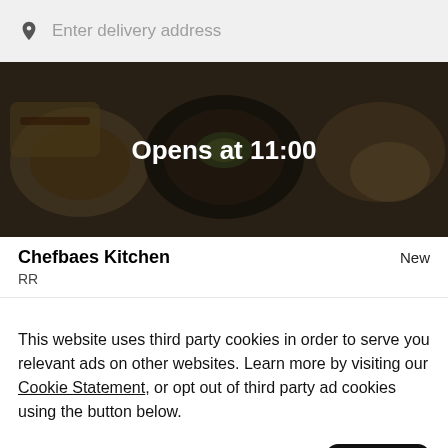Enter delivery address
[Figure (photo): Food banner image showing various dishes with a dark overlay and text 'Opens at 11:00' centered in white bold text]
Chefbaes Kitchen
New
RR
This website uses third party cookies in order to serve you relevant ads on other websites. Learn more by visiting our Cookie Statement, or opt out of third party ad cookies using the button below.
Opt out
Got it